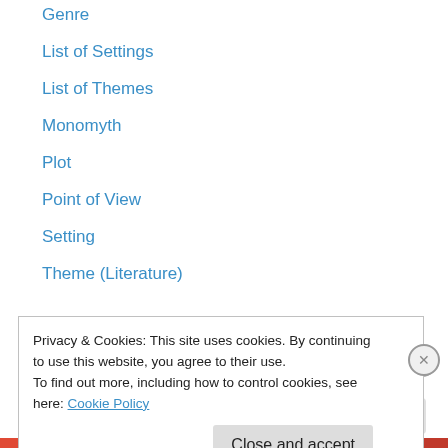Genre
List of Settings
List of Themes
Monomyth
Plot
Point of View
Setting
Theme (Literature)
To be, or not to be – Literary Analysis Exercise
Movie Lessons Plans
10 Things I Hate About You Literary Elements
500 Days of Summer Literary Elements
Ali Literary Elements
Privacy & Cookies: This site uses cookies. By continuing to use this website, you agree to their use.
To find out more, including how to control cookies, see here: Cookie Policy
Close and accept